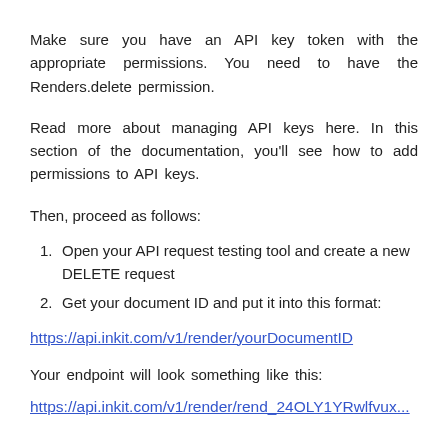Make sure you have an API key token with the appropriate permissions. You need to have the Renders.delete permission.
Read more about managing API keys here. In this section of the documentation, you'll see how to add permissions to API keys.
Then, proceed as follows:
1. Open your API request testing tool and create a new DELETE request
2. Get your document ID and put it into this format:
https://api.inkit.com/v1/render/yourDocumentID
Your endpoint will look something like this:
https://api.inkit.com/v1/render/rend_24OLY1YRwlfvux...